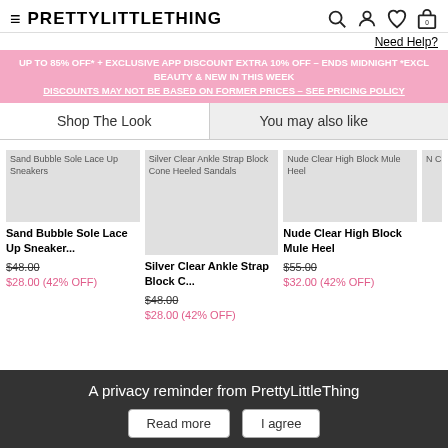≡ PRETTYLITTLETHING [search, account, wishlist, cart icons]
Need Help?
UP TO 85% OFF* + EXCLUSIVE APP DISCOUNT EXTRA 10% OFF – ENDS MIDNIGHT *EXCL BEAUTY & NEW IN THIS WEEK DISCOUNTS MAY NOT BE BASED ON FORMER PRICES – SEE PRICING POLICY
Shop The Look
You may also like
[Figure (photo): Sand Bubble Sole Lace Up Sneakers product image placeholder]
Sand Bubble Sole Lace Up Sneaker...
$48.00
$28.00 (42% OFF)
[Figure (photo): Silver Clear Ankle Strap Block Cone Heeled Sandals product image placeholder]
Silver Clear Ankle Strap Block C...
$48.00
$28.00 (42% OFF)
[Figure (photo): Nude Clear High Block Mule Heel product image placeholder]
Nude Clear High Block Mule Heel
$55.00
$32.00 (42% OFF)
A privacy reminder from PrettyLittleThing
Read more
I agree